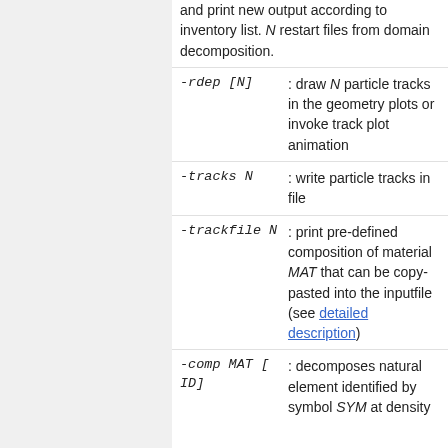and print new output according to inventory list. N restart files from domain decomposition.
-rdep [N] : draw N particle tracks in the geometry plots or invoke track plot animation
-tracks N : write particle tracks in file
-trackfile N : print pre-defined composition of material MAT that can be copy-pasted into the inputfile (see detailed description)
-comp MAT [ID] : decomposes natural element identified by symbol SYM at density